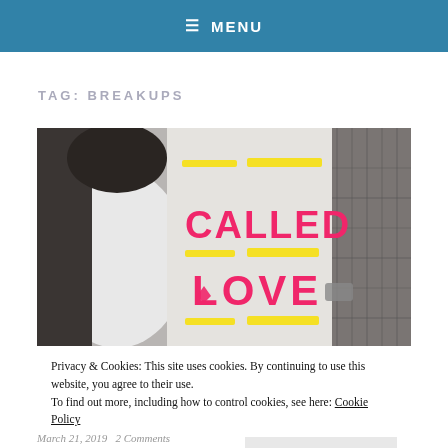≡ MENU
TAG: BREAKUPS
[Figure (photo): Book cover showing two people standing back to back (black and white), with the words 'CALLED LOVE' in bright pink and yellow decorative lines on the cover.]
Privacy & Cookies: This site uses cookies. By continuing to use this website, you agree to their use.
To find out more, including how to control cookies, see here: Cookie Policy
Close and accept
March 21, 2019   2 Comments